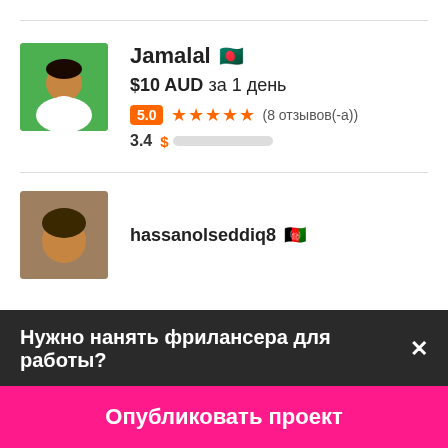[Figure (photo): Profile photo of Jamalal, a person in white shirt against green background]
Jamalal 🇧🇩
$10 AUD за 1 день
5.0 ★★★★★ (8 отзывов(-а))
3.4 $ ████░░░░░░
[Figure (photo): Partial profile photo of hassanolseddiq8]
hassanolseddiq8 🇦🇫
Нужно нанять фрилансера для работы?✕
Опубликовать проект